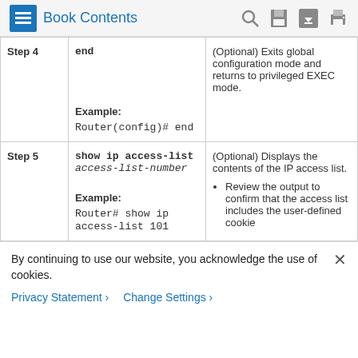Book Contents
| Step | Command | Description |
| --- | --- | --- |
| Step 4 | end

Example:
Router(config)# end | (Optional) Exits global configuration mode and returns to privileged EXEC mode. |
| Step 5 | show ip access-list access-list-number

Example:
Router# show ip access-list 101 | (Optional) Displays the contents of the IP access list.
• Review the output to confirm that the access list includes the user-defined cookie |
By continuing to use our website, you acknowledge the use of cookies.
Privacy Statement ›   Change Settings ›